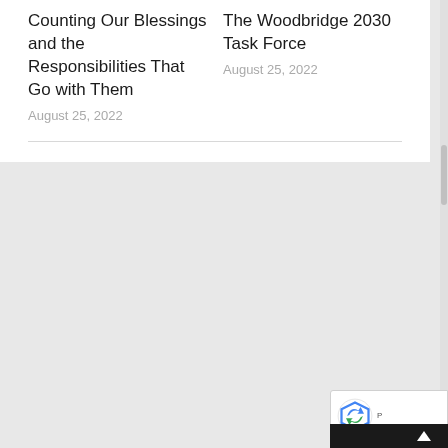Counting Our Blessings and the Responsibilities That Go with Them
August 25, 2022
The Woodbridge 2030 Task Force
August 25, 2022